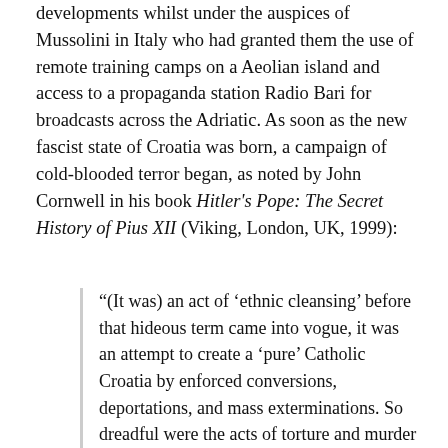developments whilst under the auspices of Mussolini in Italy who had granted them the use of remote training camps on a Aeolian island and access to a propaganda station Radio Bari for broadcasts across the Adriatic. As soon as the new fascist state of Croatia was born, a campaign of cold-blooded terror began, as noted by John Cornwell in his book Hitler's Pope: The Secret History of Pius XII (Viking, London, UK, 1999):
“(It was) an act of ‘ethnic cleansing’ before that hideous term came into vogue, it was an attempt to create a ‘pure’ Catholic Croatia by enforced conversions, deportations, and mass exterminations. So dreadful were the acts of torture and murder that even hardened German troops registered their horror. Even by